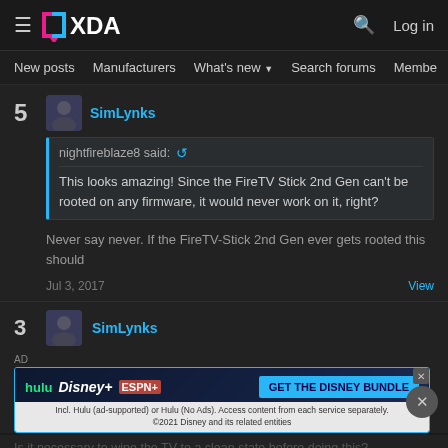XDA Forums - header with navigation
New posts  Manufacturers  What's new  Search forums  Membe  >
5  SimLynks
nightfireblaze8 said:
This looks amazing! Since the FireTV Stick 2nd Gen can't be rooted on any firmware, it would never work on it, right?
Never say never. If the FireTV-Stick 2nd Gen ever gets rooted this should
Jul 3, 2017  View
3  SimLynks
[Figure (screenshot): Disney Bundle advertisement banner showing Hulu, Disney+, ESPN+ logos with GET THE DISNEY BUNDLE call to action]
Is it necessary to wipe the TV to a clean state before doing this?